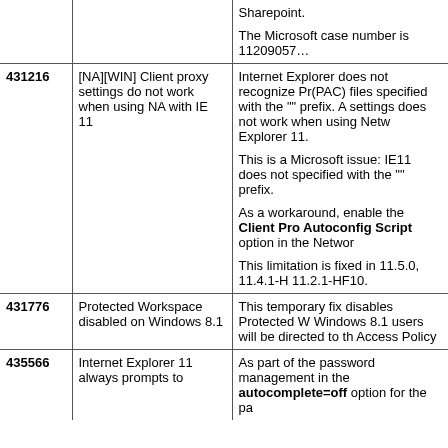| ID | Summary | Description |
| --- | --- | --- |
|  |  | Sharepoint.

The Microsoft case number is 11209057… |
| 431216 | [NA][WIN] Client proxy settings do not work when using NA with IE 11 | Internet Explorer does not recognize Pr(PAC) files specified with the "" prefix. A settings does not work when using Netw Explorer 11.

This is a Microsoft issue: IE11 does not specified with the "" prefix.

As a workaround, enable the Client Pro Autoconfig Script option in the Networ

This limitation is fixed in 11.5.0, 11.4.1-H 11.2.1-HF10. |
| 431776 | Protected Workspace disabled on Windows 8.1 | This temporary fix disables Protected W Windows 8.1 users will be directed to th Access Policy |
| 435566 | Internet Explorer 11 always prompts to | As part of the password management in the autocomplete=off option for the pa |